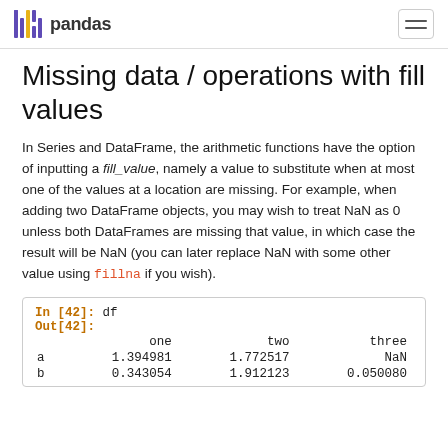pandas
Missing data / operations with fill values
In Series and DataFrame, the arithmetic functions have the option of inputting a fill_value, namely a value to substitute when at most one of the values at a location are missing. For example, when adding two DataFrame objects, you may wish to treat NaN as 0 unless both DataFrames are missing that value, in which case the result will be NaN (you can later replace NaN with some other value using fillna if you wish).
In [42]: df
Out[42]:
       one      two    three
a  1.394981  1.772517      NaN
b  0.343054  1.912123   0.050080